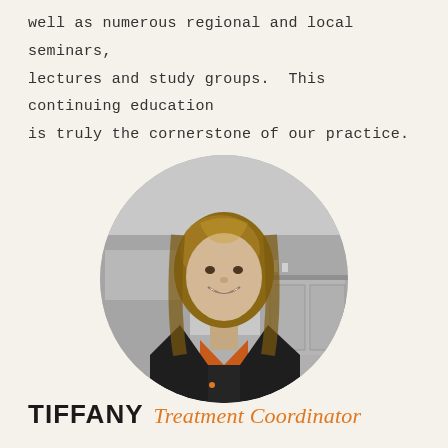well as numerous regional and local seminars, lectures and study groups.  This continuing education is truly the cornerstone of our practice.
[Figure (photo): Circular portrait photo of a smiling woman with shoulder-length blonde/brown hair wearing a dark navy scrub jacket over an orange top, standing in a dental or medical office setting. Photo is in grayscale/desaturated style.]
TIFFANY Treatment Coordinator